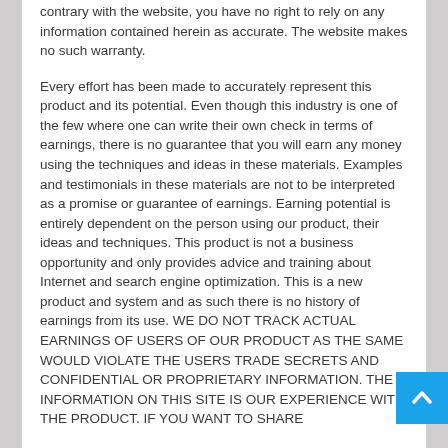contrary with the website, you have no right to rely on any information contained herein as accurate. The website makes no such warranty.
Every effort has been made to accurately represent this product and its potential. Even though this industry is one of the few where one can write their own check in terms of earnings, there is no guarantee that you will earn any money using the techniques and ideas in these materials. Examples and testimonials in these materials are not to be interpreted as a promise or guarantee of earnings. Earning potential is entirely dependent on the person using our product, their ideas and techniques. This product is not a business opportunity and only provides advice and training about Internet and search engine optimization. This is a new product and system and as such there is no history of earnings from its use. WE DO NOT TRACK ACTUAL EARNINGS OF USERS OF OUR PRODUCT AS THE SAME WOULD VIOLATE THE USERS TRADE SECRETS AND CONFIDENTIAL OR PROPRIETARY INFORMATION. THE INFORMATION ON THIS SITE IS OUR EXPERIENCE WITH THE PRODUCT. IF YOU WANT TO SHARE